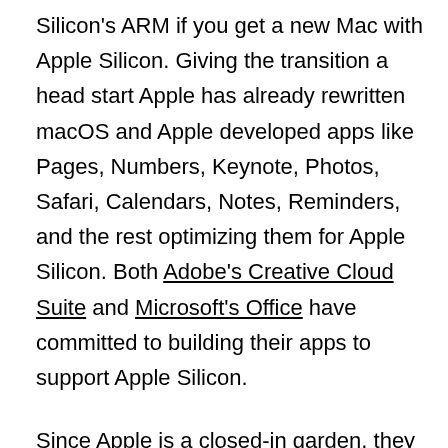Silicon's ARM if you get a new Mac with Apple Silicon. Giving the transition a head start Apple has already rewritten macOS and Apple developed apps like Pages, Numbers, Keynote, Photos, Safari, Calendars, Notes, Reminders, and the rest optimizing them for Apple Silicon. Both Adobe's Creative Cloud Suite and Microsoft's Office have committed to building their apps to support Apple Silicon.
Since Apple is a closed-in garden, they also develop the app developers use to write their own apps. This make's it easier for developers to update their apps for Apple Silicon. With a